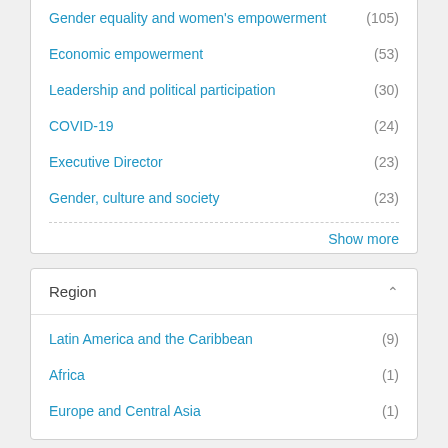Gender equality and women's empowerment (105)
Economic empowerment (53)
Leadership and political participation (30)
COVID-19 (24)
Executive Director (23)
Gender, culture and society (23)
Show more
Region
Latin America and the Caribbean (9)
Africa (1)
Europe and Central Asia (1)
Country
Jamaica (2)